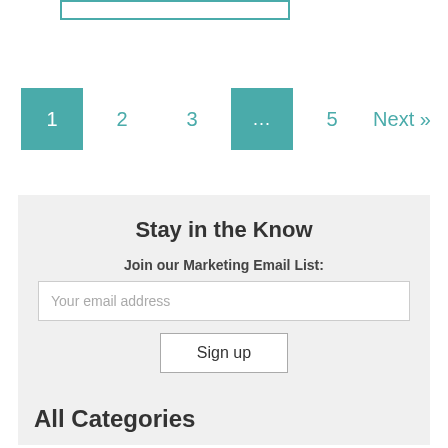[Figure (other): Teal-bordered rectangle (partial UI element at top of page)]
1  2  3  ...  5  Next »
Stay in the Know
Join our Marketing Email List:
Your email address
Sign up
All Categories